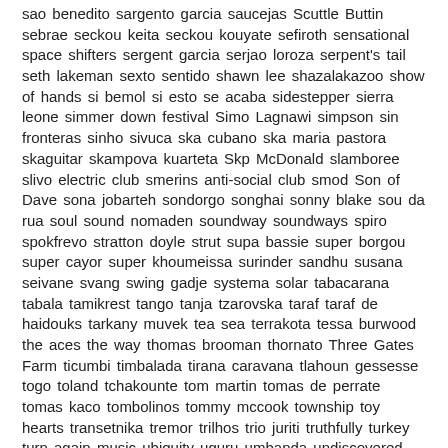sao benedito sargento garcia saucejas Scuttle Buttin sebrae seckou keita seckou kouyate sefiroth sensational space shifters sergent garcia serjao loroza serpent's tail seth lakeman sexto sentido shawn lee shazalakazoo show of hands si bemol si esto se acaba sidestepper sierra leone simmer down festival Simo Lagnawi simpson sin fronteras sinho sivuca ska cubano ska maria pastora skaguitar skampova kuarteta Skp McDonald slamboree slivo electric club smerins anti-social club smod Son of Dave sona jobarteh sondorgo songhai sonny blake sou da rua soul sound nomaden soundway soundways spiro spokfrevo stratton doyle strut supa bassie super borgou super cayor super khoumeissa surinder sandhu susana seivane svang swing gadje systema solar tabacarana tabala tamikrest tango tanja tzarovska taraf taraf de haidouks tarkany muvek tea sea terrakota tessa burwood the aces the way thomas brooman thornato Three Gates Farm ticumbi timbalada tirana caravana tlahoun gessesse togo toland tchakounte tom martin tomas de perrate tomas kaco tombolinos tommy mccook township toy hearts transetnika tremor trilhos trio juriti truthfully turkey turn again music ubiquity uguru umbanda undiscovered time urban folk quartet uxia va fan fahre vadoinmessico vampisoul vetex victoria spivey vieux farka toure vincent segal vitoria Voodoo Chile wales Wara Jungle By Night warsaw warsaw music pakt waso watcha clan wendy vizcaino wesli whiskey river windblown womad womex world music world